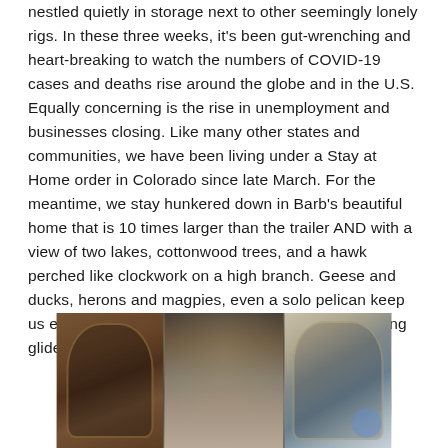nestled quietly in storage next to other seemingly lonely rigs. In these three weeks, it's been gut-wrenching and heart-breaking to watch the numbers of COVID-19 cases and deaths rise around the globe and in the U.S. Equally concerning is the rise in unemployment and businesses closing. Like many other states and communities, we have been living under a Stay at Home order in Colorado since late March. For the meantime, we stay hunkered down in Barb's beautiful home that is 10 times larger than the trailer AND with a view of two lakes, cottonwood trees, and a hawk perched like clockwork on a high branch. Geese and ducks, herons and magpies, even a solo pelican keep us entertained with their honks or quacks and evening glides on the lakes or walking among the cattails.
[Figure (photo): Interior home photo showing wooden cabinetry with an arched cabinet on the left, kitchen area in the middle with a refrigerator covered in photos/magnets, and a hallway with an arched doorway on the right lit with warm light.]